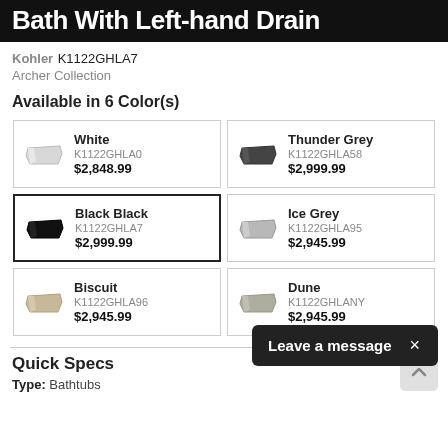Bath With Left-hand Drain
Kohler K1122GHLA7
Archer Collection
Available in 6 Color(s)
| Color | SKU | Price |
| --- | --- | --- |
| White | K1122GHLA0 | $2,848.99 |
| Thunder Grey | K1122GHLA58 | $2,999.99 |
| Black Black | K1122GHLA7 | $2,999.99 |
| Ice Grey | K1122GHLA95 | $2,945.99 |
| Biscuit | K1122GHLA96 | $2,945.99 |
| Dune | K1122GHLANY | $2,945.99 |
Leave a message ×
Quick Specs
Type: Bathtubs